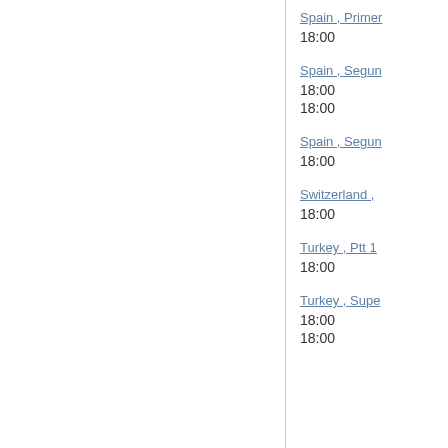Spain , Primer
18:00
Spain , Segun
18:00
18:00
Spain , Segun
18:00
Switzerland ,
18:00
Turkey , Ptt 1
18:00
Turkey , Supe
18:00
18:00